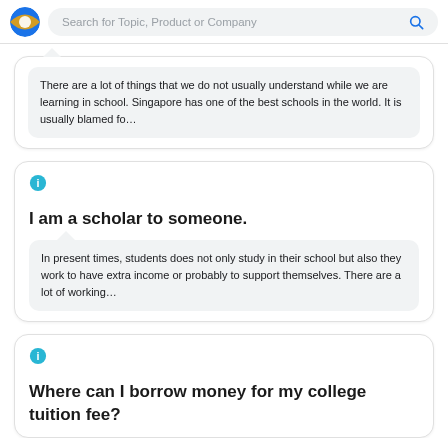Search for Topic, Product or Company
There are a lot of things that we do not usually understand while we are learning in school. Singapore has one of the best schools in the world. It is usually blamed fo…
I am a scholar to someone.
In present times, students does not only study in their school but also they work to have extra income or probably to support themselves. There are a lot of working…
Where can I borrow money for my college tuition fee?